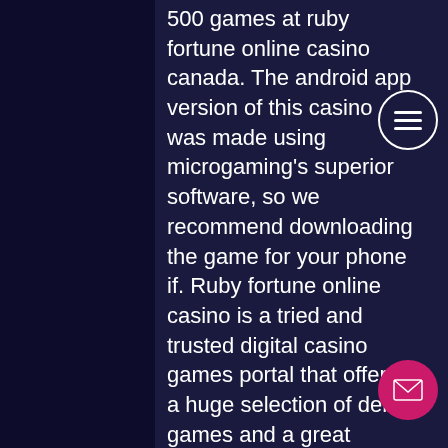500 games at ruby fortune online casino canada. The android app version of this casino was made using microgaming's superior software, so we recommend downloading the game for your phone if. Ruby fortune online casino is a tried and trusted digital casino games portal that offers a huge selection of demo games and a great signup bonus. Ruby fortune online casino offers thousands of games on its platform. Its reputation is based not only on its motto "fair, easy, safe &amp; fun" but also on. Well the punters say paypal is, first of all, a very secure way to transfer your money anywhere, including online casinos. Secondly, paypal has a perfect As the name suggests, mobile pokies will basically enable you to play your favorite slot games on your mobile device, play free bitcoin casino bitcoin slot games for fu... can enjoy the experience of playing free
[Figure (illustration): Circular menu button (hamburger icon) with three horizontal lines, white border on dark background, positioned top right]
[Figure (illustration): Circular mail/envelope button in magenta/pink color, positioned bottom right]